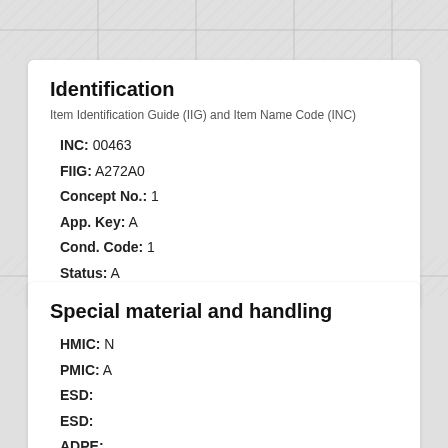Identification
Item Identification Guide (IIG) and Item Name Code (INC)
INC: 00463
FIIG: A272A0
Concept No.: 1
App. Key: A
Cond. Code: 1
Status: A
Special material and handling
HMIC: N
PMIC: A
ESD:
ESD:
ADPE: